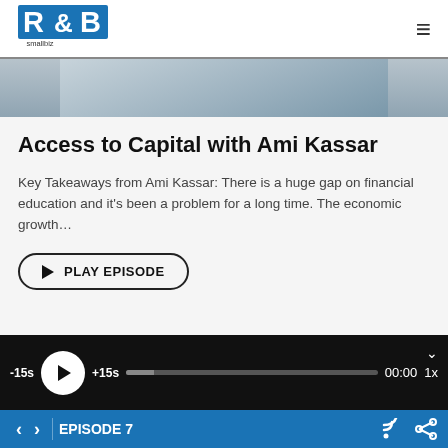[Figure (logo): R&B smallbiz logo — blue block letters R&B with 'smallbiz' underneath]
[Figure (photo): Partial photo of a person, cropped at the top of the page]
Access to Capital with Ami Kassar
Key Takeaways from Ami Kassar: There is a huge gap on financial education and it's been a problem for a long time. The economic growth…
[Figure (screenshot): Audio podcast player bar showing -15s, play button, +15s, progress bar, 00:00, 1x speed controls on dark background]
EPISODE 7